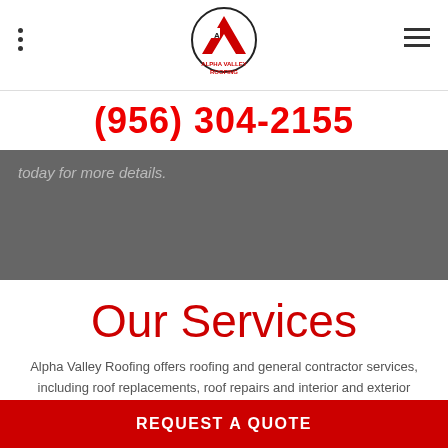[Figure (logo): Alpha Valley Roofing logo — AV chevron icon with company name below]
(956) 304-2155
today for more details.
Our Services
Alpha Valley Roofing offers roofing and general contractor services, including roof replacements, roof repairs and interior and exterior remodeling.
REQUEST A QUOTE